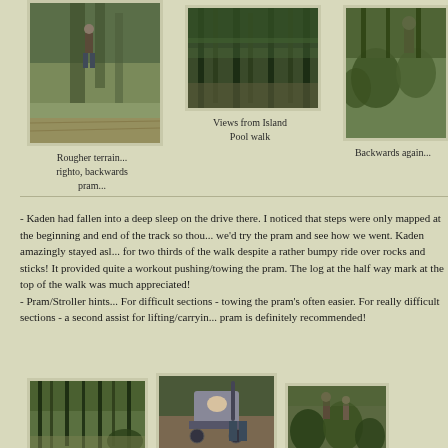[Figure (photo): Person on a forest trail with rough terrain]
Rougher terrain... righto, backwards pram...
[Figure (photo): Dense forest with tall trees - Island Pool walk]
Views from Island Pool walk
[Figure (photo): Person with pram/stroller on rocky forest trail]
Backwards again...
- Kaden had fallen into a deep sleep on the drive there. I noticed that steps were only mapped at the beginning and end of the track so thought we'd try the pram and see how we went. Kaden amazingly stayed asleep for two thirds of the walk despite a rather bumpy ride over rocks and sticks! It provided quite a workout pushing/towing the pram. The log at the half way mark at the top of the walk was much appreciated!
- Pram/Stroller hints... For difficult sections - towing the pram's often easier. For really difficult sections - a second assist for lifting/carrying pram is definitely recommended!
[Figure (photo): Forest path with tall trees]
[Figure (photo): Baby in stroller/pram on forest trail]
[Figure (photo): People near grass trees in forest]